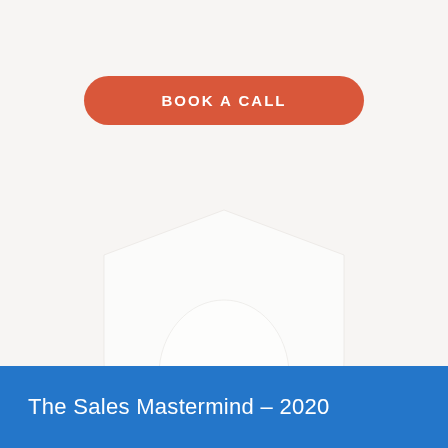[Figure (other): Orange rounded rectangle button with white bold text 'BOOK A CALL']
[Figure (illustration): Faint light-colored shield/badge watermark shape in the center of the page]
The Sales Mastermind – 2020